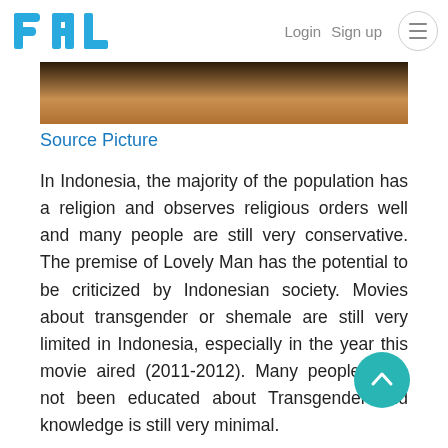PAL  Login  Sign up
[Figure (photo): Partial view of a dark-toned photo strip, showing what appears to be a person in dark/warm lighting]
Source Picture
In Indonesia, the majority of the population has a religion and observes religious orders well and many people are still very conservative. The premise of Lovely Man has the potential to be criticized by Indonesian society. Movies about transgender or shemale are still very limited in Indonesia, especially in the year this movie aired (2011-2012). Many people have not been educated about Transgender and knowledge is still very minimal.
A transgender father's relationship with his innocent daughter in her hijab became a new